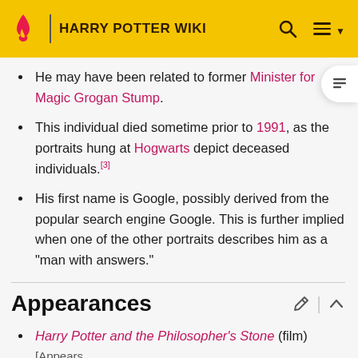HARRY POTTER WIKI
He may have been related to former Minister for Magic Grogan Stump.
This individual died sometime prior to 1991, as the portraits hung at Hogwarts depict deceased individuals.[3]
His first name is Google, possibly derived from the popular search engine Google. This is further implied when one of the other portraits describes him as a "man with answers."
Appearances
Harry Potter and the Philosopher's Stone (film) [Appears [4]